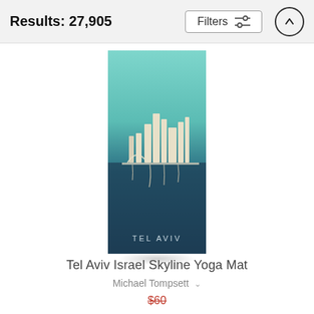Results: 27,905
[Figure (screenshot): Filters button with sliders icon and an up-arrow circle button in the header bar]
[Figure (photo): Yoga mat product image showing Tel Aviv Israel skyline artwork — teal gradient top fading to dark navy bottom with cream/white cityscape silhouette and TEL AVIV text at the bottom]
Tel Aviv Israel Skyline Yoga Mat
Michael Tompsett
$60